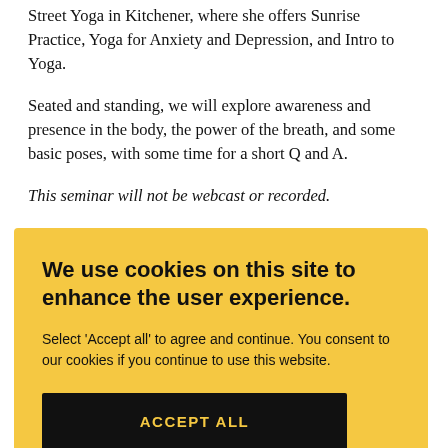2019, and continues to teach. Emily is part of the staff at Queen Street Yoga in Kitchener, where she offers Sunrise Practice, Yoga for Anxiety and Depression, and Intro to Yoga.
Seated and standing, we will explore awareness and presence in the body, the power of the breath, and some basic poses, with some time for a short Q and A.
This seminar will not be webcast or recorded.
We use cookies on this site to enhance the user experience.
Select 'Accept all' to agree and continue. You consent to our cookies if you continue to use this website.
ACCEPT ALL